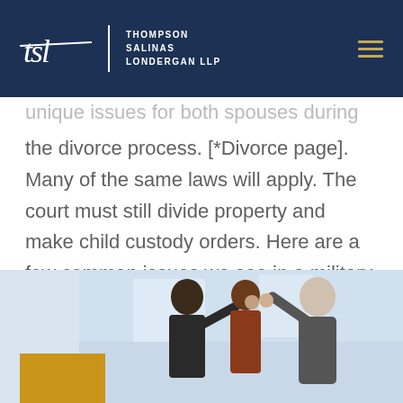Thompson Salinas Londergan LLP
unique issues for both spouses during the divorce process. [*Divorce page]. Many of the same laws will apply. The court must still divide property and make child custody orders. Here are a few common issues we see in a military divorce:
[Figure (photo): Business professionals high-fiving, with a gold/yellow rectangle accent in the lower left corner]